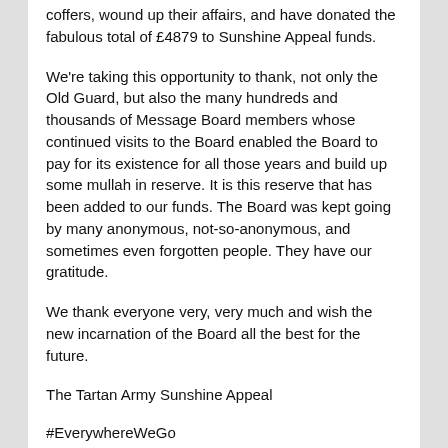coffers, wound up their affairs, and have donated the fabulous total of £4879 to Sunshine Appeal funds.
We're taking this opportunity to thank, not only the Old Guard, but also the many hundreds and thousands of Message Board members whose continued visits to the Board enabled the Board to pay for its existence for all those years and build up some mullah in reserve. It is this reserve that has been added to our funds. The Board was kept going by many anonymous, not-so-anonymous, and sometimes even forgotten people. They have our gratitude.
We thank everyone very, very much and wish the new incarnation of the Board all the best for the future.
The Tartan Army Sunshine Appeal
#EverywhereWeGo
#15thAnniversay